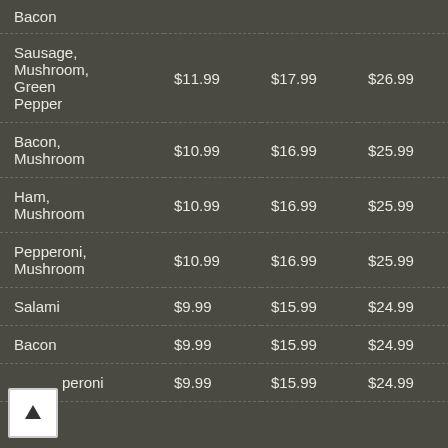| Item | Small | Medium | Large | X-Large |
| --- | --- | --- | --- | --- |
| Bacon |  |  |  |  |
| Sausage, Mushroom, Green Pepper | $11.99 | $17.99 | $26.99 | $34.99 |
| Bacon, Mushroom | $10.99 | $16.99 | $25.99 | $33.99 |
| Ham, Mushroom | $10.99 | $16.99 | $25.99 | $33.99 |
| Pepperoni, Mushroom | $10.99 | $16.99 | $25.99 | $33.99 |
| Salami | $9.99 | $15.99 | $24.99 | $30.99 |
| Bacon | $9.99 | $15.99 | $24.99 | $30.99 |
| Pepperoni | $9.99 | $15.99 | $24.99 | $30.99 |